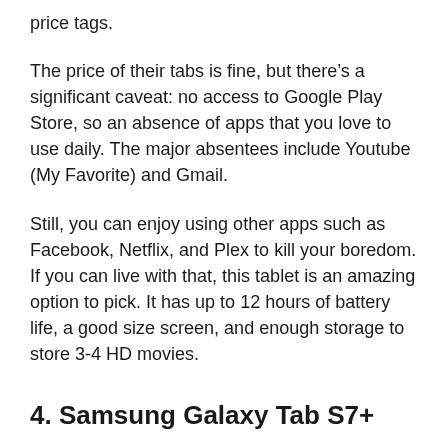price tags.
The price of their tabs is fine, but there’s a significant caveat: no access to Google Play Store, so an absence of apps that you love to use daily. The major absentees include Youtube (My Favorite) and Gmail.
Still, you can enjoy using other apps such as Facebook, Netflix, and Plex to kill your boredom. If you can live with that, this tablet is an amazing option to pick. It has up to 12 hours of battery life, a good size screen, and enough storage to store 3-4 HD movies.
4. Samsung Galaxy Tab S7+